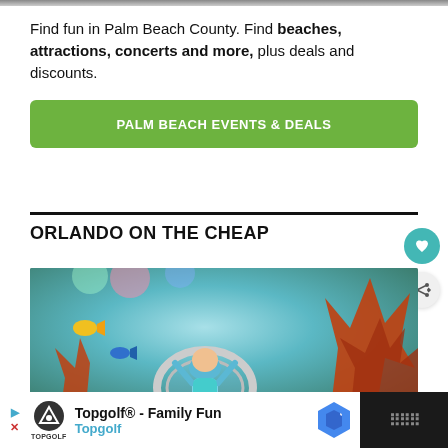[Figure (photo): Top edge of a photo strip visible at top of page]
Find fun in Palm Beach County. Find beaches, attractions, concerts and more, plus deals and discounts.
PALM BEACH EVENTS & DEALS
ORLANDO ON THE CHEAP
[Figure (photo): Child standing inside an underwater aquarium tunnel with colorful coral, fish, and sea life surrounding them]
WHAT'S NEXT → Giralda Under the Stars
[Figure (photo): Advertisement: Topgolf® - Family Fun, Topgolf]